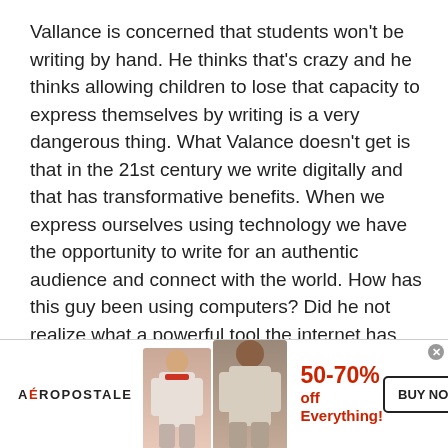Vallance is concerned that students won't be writing by hand. He thinks that's crazy and he thinks allowing children to lose that capacity to express themselves by writing is a very dangerous thing. What Valance doesn't get is that in the 21st century we write digitally and that has transformative benefits. When we express ourselves using technology we have the opportunity to write for an authentic audience and connect with the world. How has this guy been using computers? Did he not realize what a powerful tool the internet has become for giving a voice to students?

He claims that from what he's witnessed, students find it much easier to write by hand, to put their ideas
[Figure (other): Aéropostale advertisement banner showing two young women models, promoting 50-70% off Everything with a BUY NOW button]